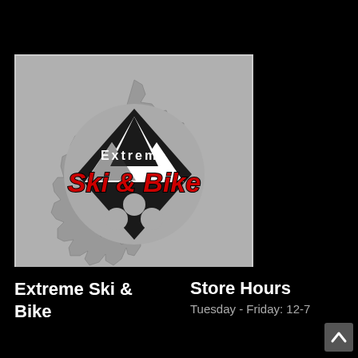[Figure (logo): Extreme Ski & Bike store logo: a bicycle gear/sprocket shape in gray with a black diamond and white mountain peaks inside, text 'Extreme' in white and 'Ski & Bike' in large red italic letters with black outline, on a gray background]
Extreme Ski & Bike
Store Hours
Tuesday - Friday: 12-7